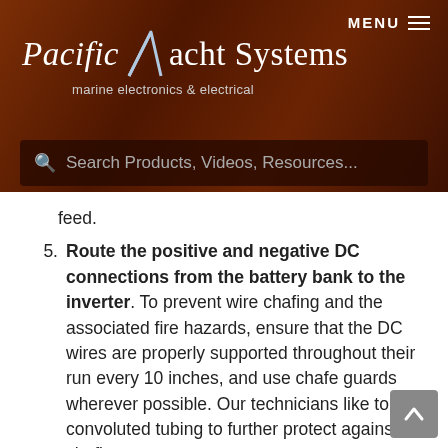Pacific Yacht Systems — marine electronics & electrical
feed.
5. Route the positive and negative DC connections from the battery bank to the inverter. To prevent wire chafing and the associated fire hazards, ensure that the DC wires are properly supported throughout their run every 10 inches, and use chafe guards wherever possible. Our technicians like to use convoluted tubing to further protect against chafing.
6. Wire the DC disconnect switch and class T fuse for DC power to the inverter. The DC disconnect switch should be rated to support the maximum continuous running amperage of your